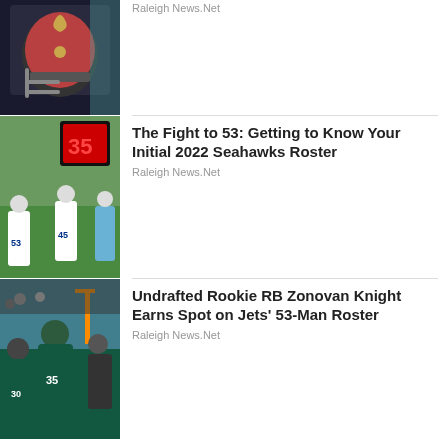[Figure (photo): Tampa Bay Buccaneers helmet close-up photo]
Raleigh News.Net
The Fight to 53: Getting to Know Your Initial 2022 Seahawks Roster
Raleigh News.Net
[Figure (photo): Seattle Seahawks players at practice with jersey numbers 53 and 45]
Undrafted Rookie RB Zonovan Knight Earns Spot on Jets' 53-Man Roster
Raleigh News.Net
[Figure (photo): New York Jets player #35 on the field]